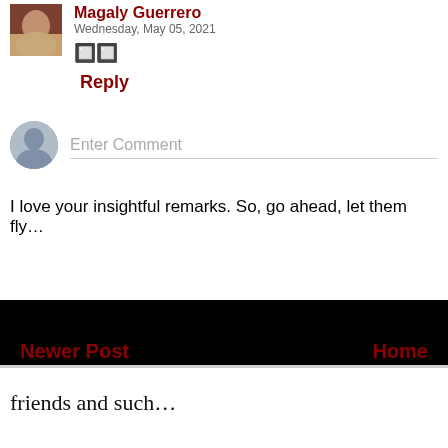Magaly Guerrero · Wednesday, May 05, 2021
🔲🔲
Reply
Enter Comment
I love your insightful remarks. So, go ahead, let them fly…
Newer Post
Home
friends and such…